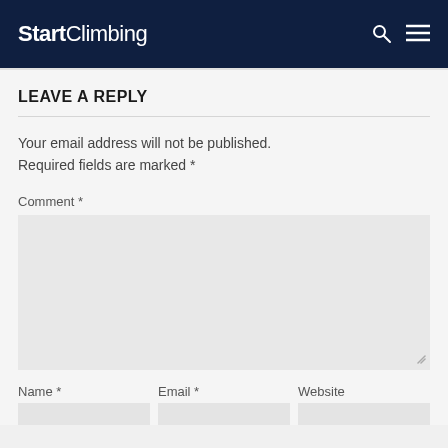StartClimbing
LEAVE A REPLY
Your email address will not be published. Required fields are marked *
Comment *
Name *
Email *
Website